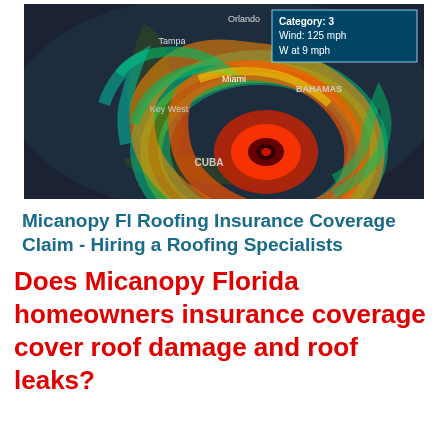[Figure (map): Satellite radar image of a Category 3 hurricane near Florida and Cuba, showing wind speed 125 mph, W at 9 mph. Labels visible: Orlando, Tampa, Miami, Key West, BAHAMAS, CUBA. Info box shows Category: 3, Wind: 125 mph, W at 9 mph.]
Micanopy Fl Roofing Insurance Coverage Claim - Hiring a Roofing Specialists
Does Micanopy Florida homeowners insurance coverage cover roof damage and roof leaks?